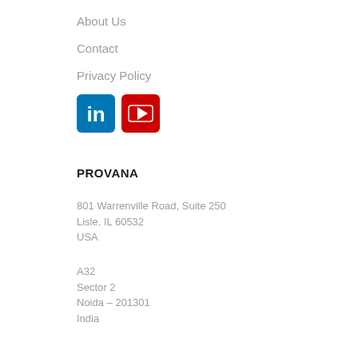About Us
Contact
Privacy Policy
[Figure (logo): LinkedIn and YouTube social media icons]
PROVANA
801 Warrenville Road, Suite 250
Lisle, IL 60532
USA
A32
Sector 2
Noida - 201301
India